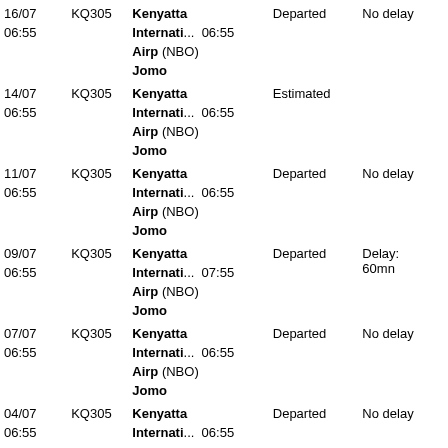| Date/Time | Flight | Airport | Status | Delay |
| --- | --- | --- | --- | --- |
| 16/07
06:55 | KQ305 | Jomo Kenyatta Internati... Airp (NBO) | Departed 06:55 | No delay |
| 14/07
06:55 | KQ305 | Jomo Kenyatta Internati... Airp (NBO) | Estimated 06:55 |  |
| 11/07
06:55 | KQ305 | Jomo Kenyatta Internati... Airp (NBO) | Departed 06:55 | No delay |
| 09/07
06:55 | KQ305 | Jomo Kenyatta Internati... Airp (NBO) | Departed 07:55 | Delay: 60mn |
| 07/07
06:55 | KQ305 | Jomo Kenyatta Internati... Airp (NBO) | Departed 06:55 | No delay |
| 04/07
06:55 | KQ305 | Jomo Kenyatta Internati... Airp (NBO) | Departed 06:55 | No delay |